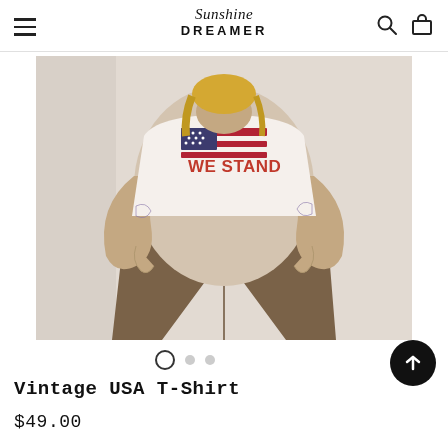Sunshine DREAMER
[Figure (photo): Woman wearing a white 'WE STAND' graphic t-shirt with American flag design, paired with brown high-waisted wide-leg trousers, hands in pockets, posed against a light background.]
Vintage USA T-Shirt
$49.00